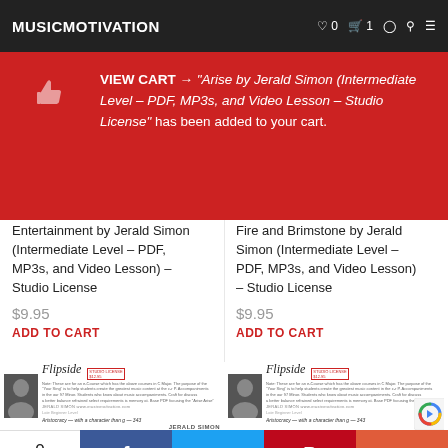MUSICMOTIVATION
VIEW CART → "Arise by Jerald Simon (Intermediate Level – PDF, MP3s, and Video Lesson – Studio License" has been added to your cart.
Entertainment by Jerald Simon (Intermediate Level – PDF, MP3s, and Video Lesson) – Studio License
$9.95
ADD TO CART
Fire and Brimstone by Jerald Simon (Intermediate Level – PDF, MP3s, and Video Lesson) – Studio License
$9.95
ADD TO CART
[Figure (screenshot): Flipside book cover preview left]
[Figure (screenshot): Flipside book cover preview right with reCAPTCHA badge]
0 SHARES
f
t
P
+